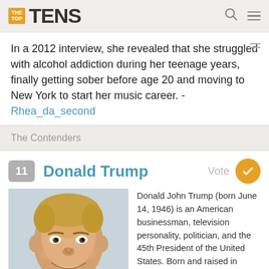THE TOP TENS
In a 2012 interview, she revealed that she struggled with alcohol addiction during her teenage years, finally getting sober before age 20 and moving to New York to start her music career. - Rhea_da_second
The Contenders
11 Donald Trump Vote
[Figure (photo): Photo of Donald Trump smiling, close-up portrait]
Donald John Trump (born June 14, 1946) is an American businessman, television personality, politician, and the 45th President of the United States. Born and raised in